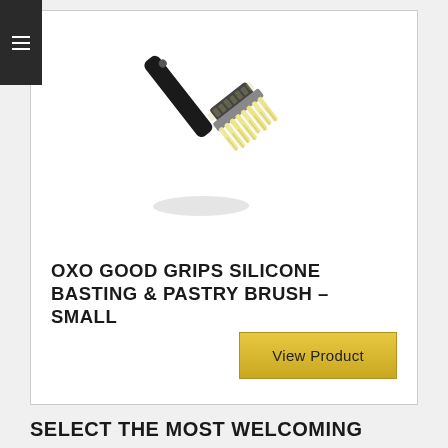[Figure (photo): OXO Good Grips silicone basting and pastry brush with black handle, shown at a diagonal angle with silicone bristles facing down-right and a shadow/reflection below]
OXO GOOD GRIPS SILICONE BASTING & PASTRY BRUSH – SMALL
View Product
SELECT THE MOST WELCOMING